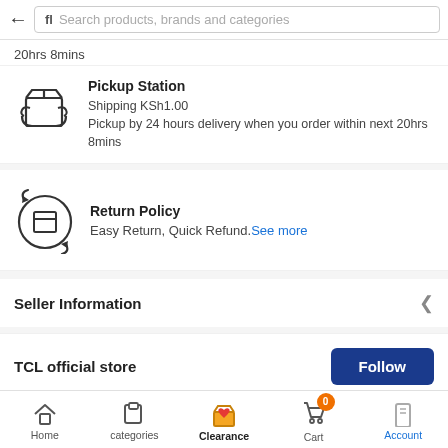Search products, brands and categories
20hrs 8mins
Pickup Station
Shipping KSh1.00
Pickup by 24 hours delivery when you order within next 20hrs 8mins
Return Policy
Easy Return, Quick Refund. See more
Seller Information
TCL official store
Seller Performance
Home  categories  Clearance  Cart  Account